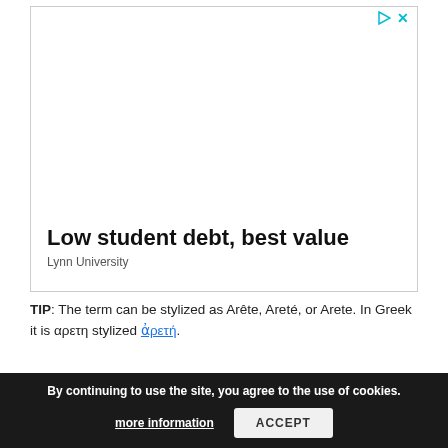[Figure (other): Advertisement banner: 'Low student debt, best value' for Lynn University, with play and close icons in top right corner]
TIP: The term can be stylized as Arête, Areté, or Arete. In Greek it is αρετη stylized ἀρετή.
Arete, a Term for Virtue for which is No English Equivalent
By continuing to use the site, you agree to the use of cookies.
more information
ACCEPT